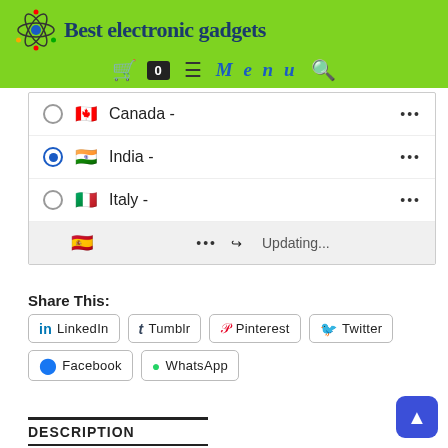Best electronic gadgets
Canada - •••
India - ••• (selected)
Italy - •••
••• Updating... (Spain, loading)
Share This:
LinkedIn
Tumblr
Pinterest
Twitter
Facebook
WhatsApp
DESCRIPTION